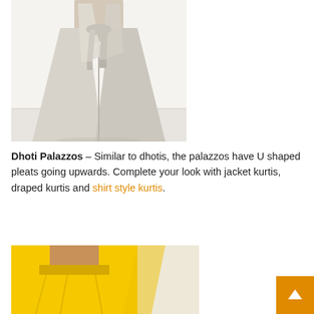[Figure (photo): Photo of a person wearing light beige/cream dhoti palazzo pants with wide flowing legs and draping tie at the waist, against a white background.]
Dhoti Palazzos – Similar to dhotis, the palazzos have U shaped pleats going upwards. Complete your look with jacket kurtis, draped kurtis and shirt style kurtis.
[Figure (photo): Photo of a person wearing bright yellow/mustard palazzo pants, cropped view showing the midsection and waist area.]